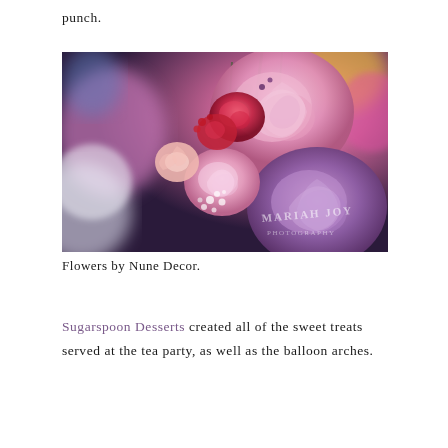punch.
[Figure (photo): Close-up photograph of a colourful floral arrangement featuring pink, mauve, red and white roses with baby's breath, with a watermark reading 'MARIAH JOY' in the lower right corner.]
Flowers by Nune Decor.
Sugarspoon Desserts created all of the sweet treats served at the tea party, as well as the balloon arches.